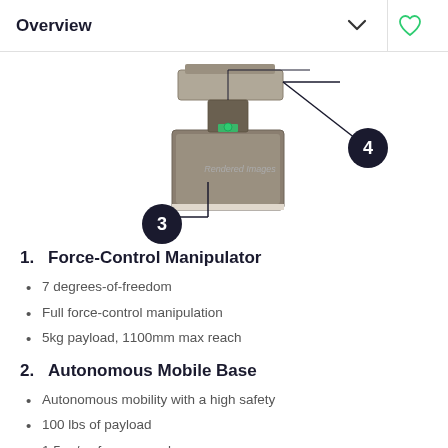Overview
[Figure (illustration): Partial view of a robot arm/mobile manipulator with numbered callout circles. Callout circle 3 (dark navy) points to the lower body of the robot, and callout circle 4 (dark navy) points to the upper/side area. The background shows a rendered robot image with the watermark 'Rendered Image'.]
1. Force-Control Manipulator
7 degrees-of-freedom
Full force-control manipulation
5kg payload, 1100mm max reach
2. Autonomous Mobile Base
Autonomous mobility with a high safety
100 lbs of payload
1.5 m/s of max speed
3. RGB-D Cameras & Lidar